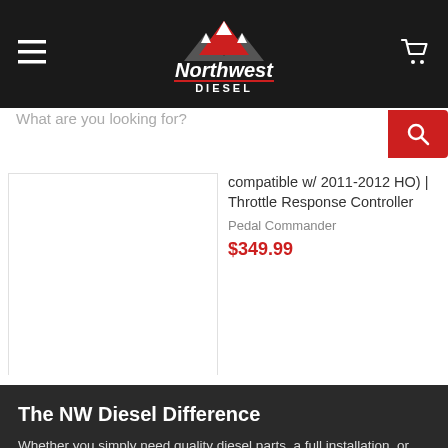[Figure (logo): Northwest Diesel logo with mountain graphic in red/white on dark header background with hamburger menu and cart icon]
What are you looking for?
compatible w/ 2011-2012 HO) | Throttle Response Controller
Pedal Commander
$349.99
The NW Diesel Difference
Whether you simply need quality diesel parts, a full installation, or educated information and guidance; we are here to get the job done.